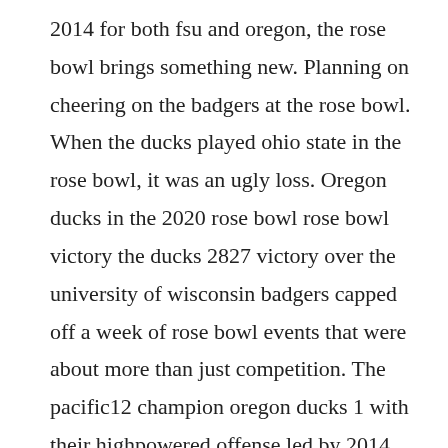2014 for both fsu and oregon, the rose bowl brings something new. Planning on cheering on the badgers at the rose bowl. When the ducks played ohio state in the rose bowl, it was an ugly loss. Oregon ducks in the 2020 rose bowl rose bowl victory the ducks 2827 victory over the university of wisconsin badgers capped off a week of rose bowl events that were about more than just competition. The pacific12 champion oregon ducks 1 with their highpowered offense led by 2014 heisman trophy winner marcus mariota,